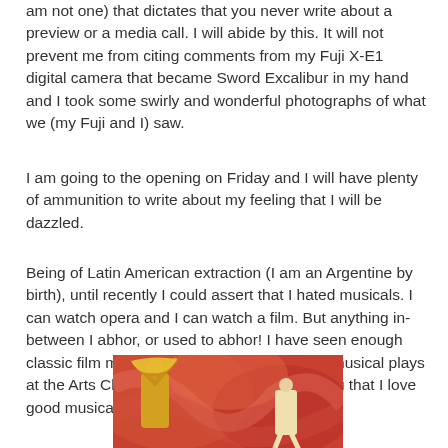am not one) that dictates that you never write about a preview or a media call. I will abide by this. It will not prevent me from citing comments from my Fuji X-E1 digital camera that became Sword Excalibur in my hand and I took some swirly and wonderful photographs of what we (my Fuji and I) saw.
I am going to the opening on Friday and I will have plenty of ammunition to write about my feeling that I will be dazzled.
Being of Latin American extraction (I am an Argentine by birth), until recently I could assert that I hated musicals. I can watch opera and I can watch a film. But anything in-between I abhor, or used to abhor! I have seen enough classic film musicals and many (as in many) musical plays at the Arts Club Theatre. I now can assure you that I love good musicals. I have been well trained.
[Figure (photo): A theatrical performance photo showing performers on stage with dramatic red/pink swirling background and colorful costumes in yellow/gold]